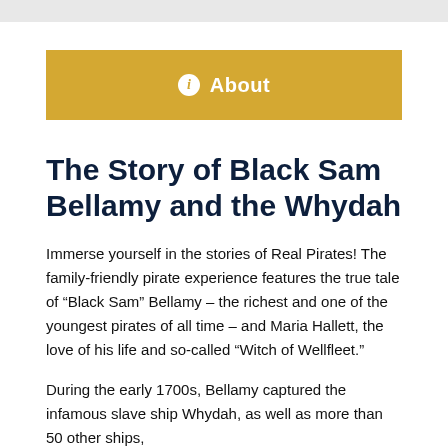About
The Story of Black Sam Bellamy and the Whydah
Immerse yourself in the stories of Real Pirates! The family-friendly pirate experience features the true tale of “Black Sam” Bellamy – the richest and one of the youngest pirates of all time – and Maria Hallett, the love of his life and so-called “Witch of Wellfleet.”
During the early 1700s, Bellamy captured the infamous slave ship Whydah, as well as more than 50 other ships,